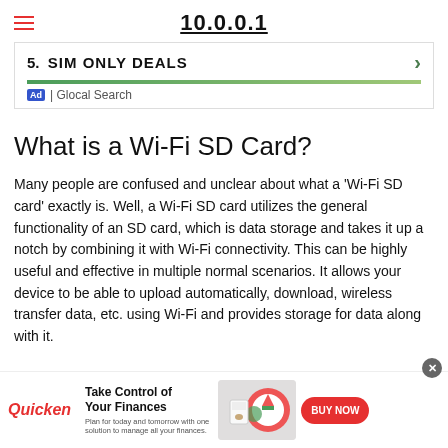10.0.0.1
[Figure (screenshot): Advertisement banner: '5. SIM ONLY DEALS' with green arrow, green bar, Ad badge and 'Glocal Search' label]
What is a Wi-Fi SD Card?
Many people are confused and unclear about what a 'Wi-Fi SD card' exactly is. Well, a Wi-Fi SD card utilizes the general functionality of an SD card, which is data storage and takes it up a notch by combining it with Wi-Fi connectivity. This can be highly useful and effective in multiple normal scenarios. It allows your device to be able to upload automatically, download, wireless transfer data, etc. using Wi-Fi and provides storage for data along with it.
[Figure (screenshot): Bottom advertisement: Quicken - Take Control of Your Finances, BUY NOW button]